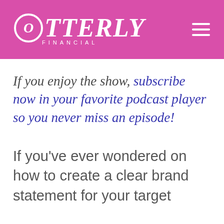Otterly Financial
If you enjoy the show, subscribe now in your favorite podcast player so you never miss an episode!
If you've ever wondered on how to create a clear brand statement for your target